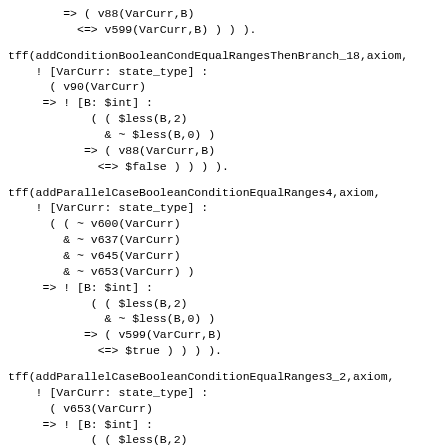=> ( v88(VarCurr,B)
    <=> v599(VarCurr,B) ) ) ).
tff(addConditionBooleanCondEqualRangesThenBranch_18,axiom,
    ! [VarCurr: state_type] :
      ( v90(VarCurr)
     => ! [B: $int] :
            ( ( $less(B,2)
              & ~ $less(B,0) )
           => ( v88(VarCurr,B)
             <=> $false ) ) ) ).
tff(addParallelCaseBooleanConditionEqualRanges4,axiom,
    ! [VarCurr: state_type] :
      ( ( ~ v600(VarCurr)
        & ~ v637(VarCurr)
        & ~ v645(VarCurr)
        & ~ v653(VarCurr) )
     => ! [B: $int] :
            ( ( $less(B,2)
              & ~ $less(B,0) )
           => ( v599(VarCurr,B)
             <=> $true ) ) ) ).
tff(addParallelCaseBooleanConditionEqualRanges3_2,axiom,
    ! [VarCurr: state_type] :
      ( v653(VarCurr)
     => ! [B: $int] :
            ( ( $less(B,2)
              & ~ $less(B,0) )